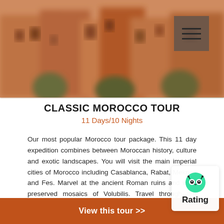[Figure (photo): Blurred photo of Moroccan terracotta-colored ancient ruins or medina buildings with some green trees in the background]
CLASSIC MOROCCO TOUR
11 Days/10 Nights
Our most popular Morocco tour package. This 11 day expedition combines between Moroccan history, culture and exotic landscapes. You will visit the main imperial cities of Morocco including Casablanca, Rabat, Meknes and Fes. Marvel at the ancient Roman ruins and well-preserved mosaics of Volubilis. Travel through the Kasbahs Trail and the old Caravan route with its remote Berber villages. Visit the blue pearl of the north, Chefchaouen, You will also ride camels and spend overnight in the Sahara desert camp.
View this tour >>
Rating